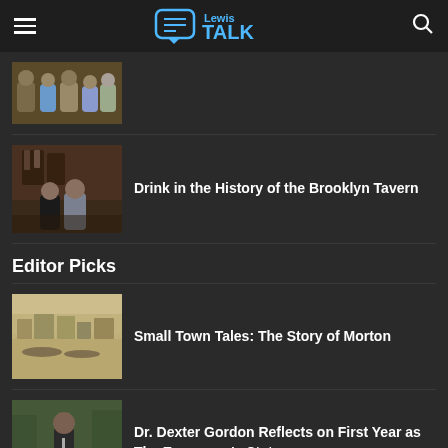Lewis TALK
[Figure (photo): Group of people photo, partially visible at top]
[Figure (photo): Two people standing in front of old tavern interior]
Drink in the History of the Brooklyn Tavern
Editor Picks
[Figure (photo): Historical sepia photo of a small town, Morton]
Small Town Tales: The Story of Morton
[Figure (photo): Dr. Dexter Gordon speaking outdoors to a group]
Dr. Dexter Gordon Reflects on First Year as The Evergreen's State...